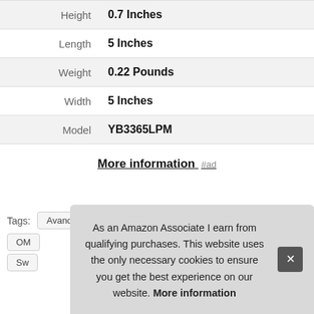|  |  |
| --- | --- |
| Height | 0.7 Inches |
| Length | 5 Inches |
| Weight | 0.22 Pounds |
| Width | 5 Inches |
| Model | YB3365LPM |
More information #ad
Tags: Avanova CUPSHE Dokotoo MOOSLOVER
As an Amazon Associate I earn from qualifying purchases. This website uses the only necessary cookies to ensure you get the best experience on our website. More information